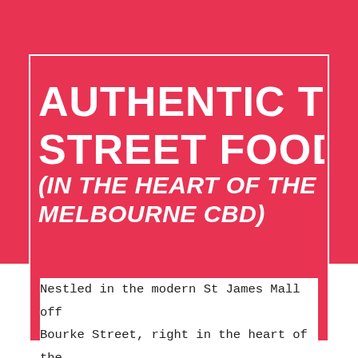AUTHENTIC THAI STREET FOOD
(IN THE HEART OF THE MELBOURNE CBD)
Nestled in the modern St James Mall off Bourke Street, right in the heart of the Melbourne CBD, Pok Pok Junior serves up